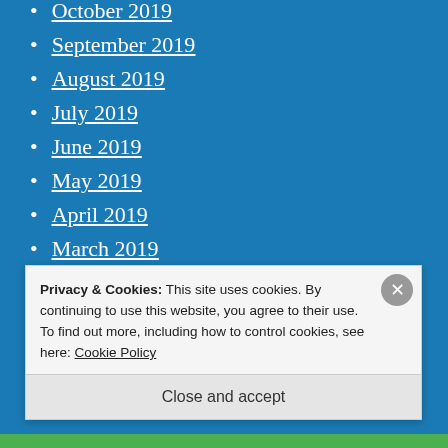October 2019
September 2019
August 2019
July 2019
June 2019
May 2019
April 2019
March 2019
February 2019
January 2019
December 2018
November 2018
Privacy & Cookies: This site uses cookies. By continuing to use this website, you agree to their use.
To find out more, including how to control cookies, see here: Cookie Policy
Close and accept